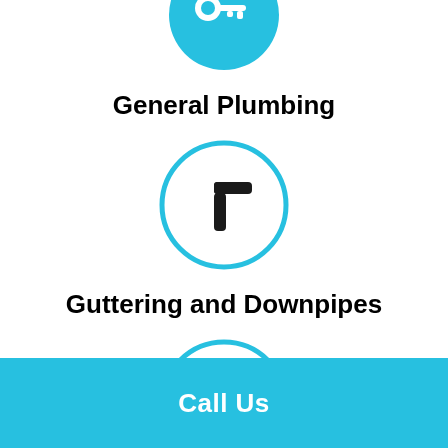[Figure (illustration): Teal circle with a key/wrench plumbing icon (partially visible at top)]
General Plumbing
[Figure (illustration): Teal outlined circle with a pipe fitting/connector icon]
Guttering and Downpipes
[Figure (illustration): Teal outlined circle with a gas flame icon]
Call Us